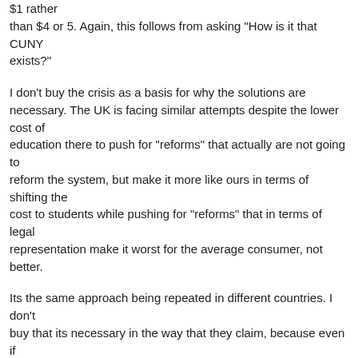$1 rather than $4 or 5. Again, this follows from asking "How is it that CUNY exists?"
I don't buy the crisis as a basis for why the solutions are necessary. The UK is facing similar attempts despite the lower cost of education there to push for "reforms" that actually are not going to reform the system, but make it more like ours in terms of shifting the cost to students while pushing for "reforms" that in terms of legal representation make it worst for the average consumer, not better.
Its the same approach being repeated in different countries. I don't buy that its necessary in the way that they claim, because even if countries where education is free or cheap, they still are making